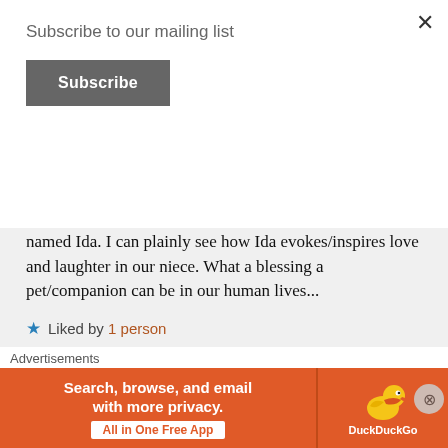Subscribe to our mailing list
Subscribe
named Ida. I can plainly see how Ida evokes/inspires love and laughter in our niece. What a blessing a pet/companion can be in our human lives...
★ Liked by 1 person
⌃ Reply
✎ notdonner
July 14, 2018 at 4:57 pm
Advertisements
[Figure (infographic): DuckDuckGo advertisement banner: orange background with text 'Search, browse, and email with more privacy. All in One Free App' and DuckDuckGo duck logo on right side]